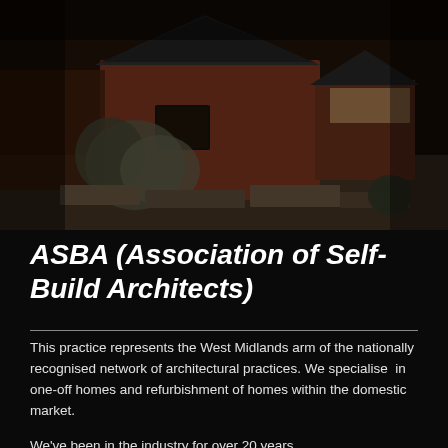[Figure (photo): Aerial/overhead view of a brick building with a dark pitched roof, surrounded by garden plants and a paved courtyard area. The image has a dark, muted tone.]
ASBA (Association of Self-Build Architects)
This practice represents the West Midlands arm of the nationally recognised network of architectural practices. We specialise  in one-off homes and refurbishment of homes within the domestic market.
We've been in the industry for over 20 years.
Visit this site regularly for updates on tips on the latest products and